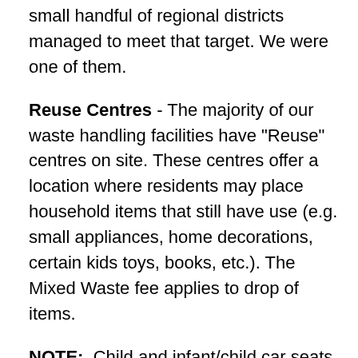small handful of regional districts managed to meet that target. We were one of them.
Reuse Centres - The majority of our waste handling facilities have "Reuse" centres on site. These centres offer a location where residents may place household items that still have use (e.g. small appliances, home decorations, certain kids toys, books, etc.). The Mixed Waste fee applies to drop of items.
NOTE:  Child and infant/child car seats are not accepted at Reuse Centres.  Furniture is not accepted due to limited space.